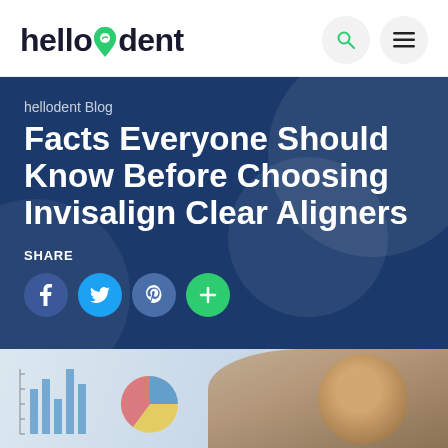hellodent
Facts Everyone Should Know Before Choosing Invisalign Clear Aligners
hellodent Blog
SHARE
[Figure (photo): Smiling man in an office with charts visible in background]